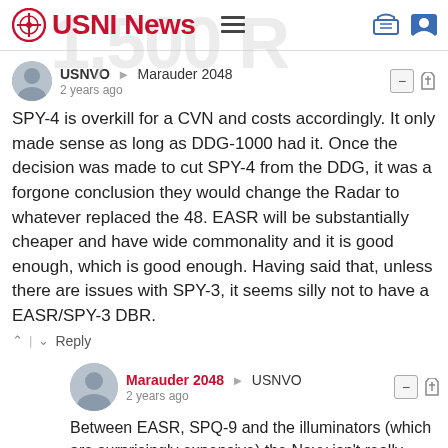USNI News
USNVO → Marauder 2048
2 years ago
SPY-4 is overkill for a CVN and costs accordingly. It only made sense as long as DDG-1000 had it. Once the decision was made to cut SPY-4 from the DDG, it was a forgone conclusion they would change the Radar to whatever replaced the 48. EASR will be substantially cheaper and have wide commonality and it is good enough, which is good enough. Having said that, unless there are issues with SPY-3, it seems silly not to have a EASR/SPY-3 DBR.
Reply
Marauder 2048 → USNVO
2 years ago
Between EASR, SPQ-9 and the illuminators (which are surprisingly expensive) the Navy isn't really saving all that much in terms of fixed cost.
And since SPY-3 isn't going away it's rather silly not to procure it assuming the terms of the contract permit